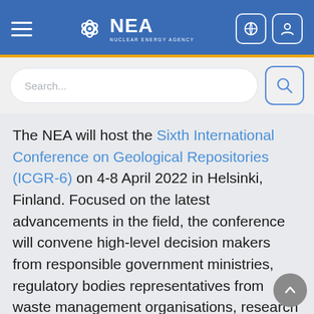NEA - Nuclear Energy Agency
The NEA will host the Sixth International Conference on Geological Repositories (ICGR-6) on 4-8 April 2022 in Helsinki, Finland. Focused on the latest advancements in the field, the conference will convene high-level decision makers from responsible government ministries, regulatory bodies representatives from waste management organisations, research